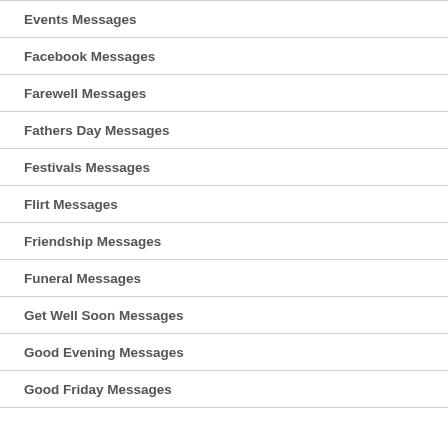Events Messages
Facebook Messages
Farewell Messages
Fathers Day Messages
Festivals Messages
Flirt Messages
Friendship Messages
Funeral Messages
Get Well Soon Messages
Good Evening Messages
Good Friday Messages